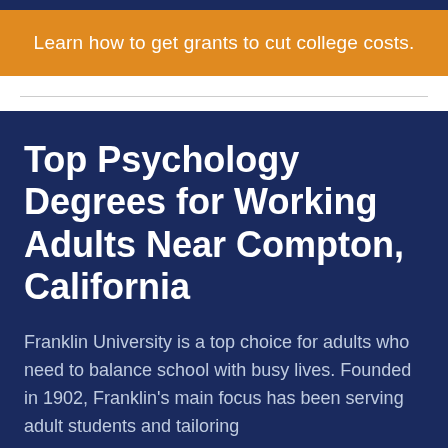Learn how to get grants to cut college costs.
Top Psychology Degrees for Working Adults Near Compton, California
Franklin University is a top choice for adults who need to balance school with busy lives. Founded in 1902, Franklin's main focus has been serving adult students and tailoring